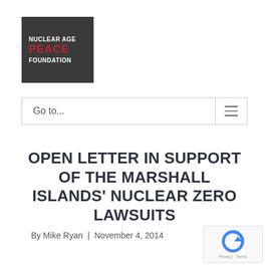[Figure (logo): Nuclear Age Peace Foundation logo — dark grey square with 'NUCLEAR AGE' in white, 'PEACE' in red, 'FOUNDATION' in white, all uppercase bold text]
Go to...
OPEN LETTER IN SUPPORT OF THE MARSHALL ISLANDS' NUCLEAR ZERO LAWSUITS
By Mike Ryan  |  November 4, 2014